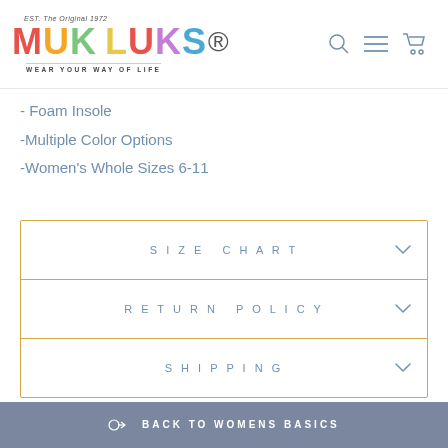[Figure (logo): Muk Luks logo with colorful letters and 'Wear Your Way of Life' tagline]
- Foam Insole
-Multiple Color Options
-Women's Whole Sizes 6-11
SIZE CHART
RETURN POLICY
SHIPPING
BACK TO WOMENS BASICS